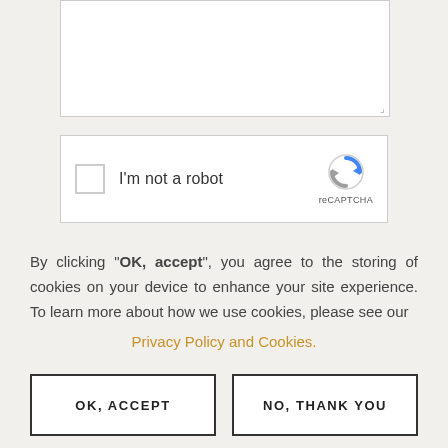[Figure (screenshot): White textarea input box with resize handle in bottom-right corner]
[Figure (screenshot): reCAPTCHA widget with checkbox labeled 'I'm not a robot' and reCAPTCHA logo on the right]
By clicking "OK, accept", you agree to the storing of cookies on your device to enhance your site experience. To learn more about how we use cookies, please see our
Privacy Policy and Cookies.
OK, ACCEPT
NO, THANK YOU